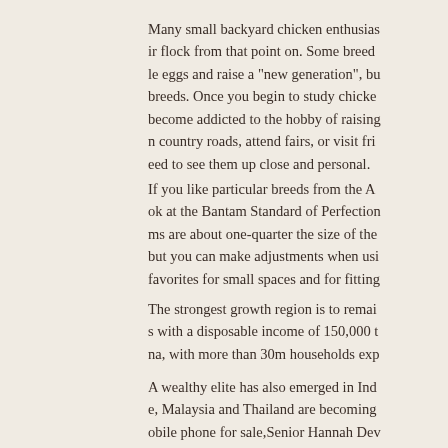Many small backyard chicken enthusias ir flock from that point on. Some breed le eggs and raise a "new generation", bu breeds. Once you begin to study chicke become addicted to the hobby of raising n country roads, attend fairs, or visit fri eed to see them up close and personal.
If you like particular breeds from the A ok at the Bantam Standard of Perfection ms are about one-quarter the size of the but you can make adjustments when usi favorites for small spaces and for fitting
The strongest growth region is to remai s with a disposable income of 150,000 t na, with more than 30m households exp
A wealthy elite has also emerged in Ind e, Malaysia and Thailand are becoming obile phone for sale,Senior Hannah Dev uties on luxury goods.